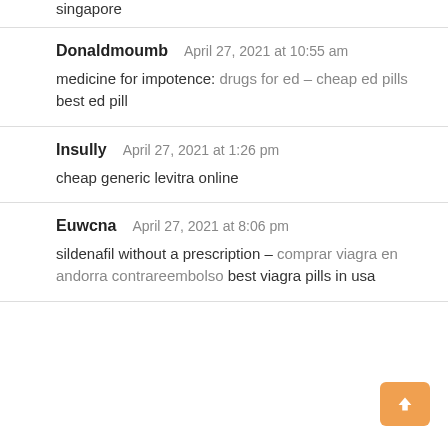singapore
Donaldmoumb   April 27, 2021 at 10:55 am
medicine for impotence: drugs for ed – cheap ed pills
best ed pill
Insully   April 27, 2021 at 1:26 pm
cheap generic levitra online
Euwcna   April 27, 2021 at 8:06 pm
sildenafil without a prescription – comprar viagra en andorra contrareembolso best viagra pills in usa